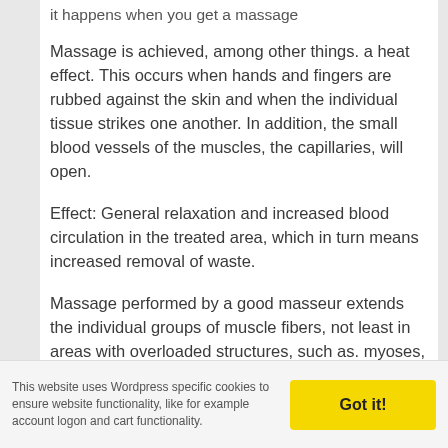it happens when you get a massage
Massage is achieved, among other things. a heat effect. This occurs when hands and fingers are rubbed against the skin and when the individual tissue strikes one another. In addition, the small blood vessels of the muscles, the capillaries, will open.
Effect: General relaxation and increased blood circulation in the treated area, which in turn means increased removal of waste.
Massage performed by a good masseur extends the individual groups of muscle fibers, not least in areas with overloaded structures, such as. myoses, connective tissue and tendons.
Effect: Massage can help treat smaller and almost unattainable areas of stressed and strained structure.
This website uses Wordpress specific cookies to ensure website functionality, like for example account logon and cart functionality.